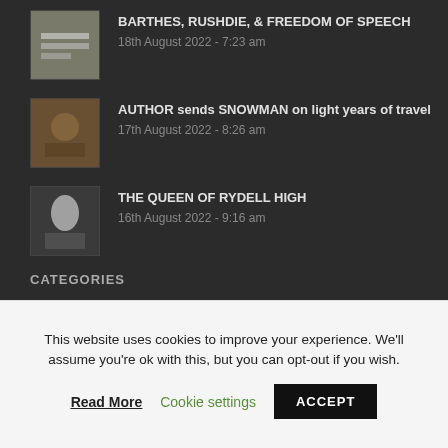BARTHES, RUSHDIE, & FREEDOM OF SPEECH
18th August 2022 - 7:23 am
AUTHOR sends SNOWMAN on light years of travel
17th August 2022 - 8:26 am
THE QUEEN OF RYDELL HIGH
16th August 2022 - 9:16 am
CATEGORIES
AATA (272)
cinema (11)
This website uses cookies to improve your experience. We'll assume you're ok with this, but you can opt-out if you wish.
Read More   Cookie settings   ACCEPT